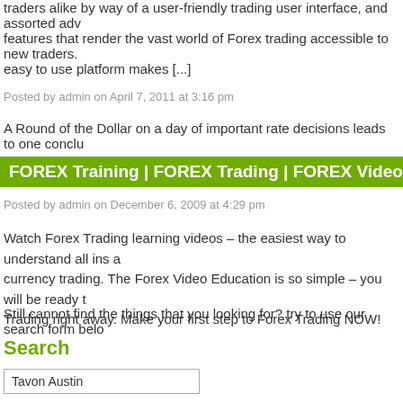traders alike by way of a user-friendly trading user interface, and assorted advanced features that render the vast world of Forex trading accessible to new traders. easy to use platform makes [...]
Posted by admin on April 7, 2011 at 3:16 pm
A Round of the Dollar on a day of important rate decisions leads to one conclu...
FOREX Training | FOREX Trading | FOREX Video
Posted by admin on December 6, 2009 at 4:29 pm
Watch Forex Trading learning videos – the easiest way to understand all ins and outs of currency trading. The Forex Video Education is so simple – you will be ready to start Forex Trading right away. Make your first step to Forex Trading NOW!
Still cannot find the things that you looking for? try to use our search form below...
Search
Tavon Austin